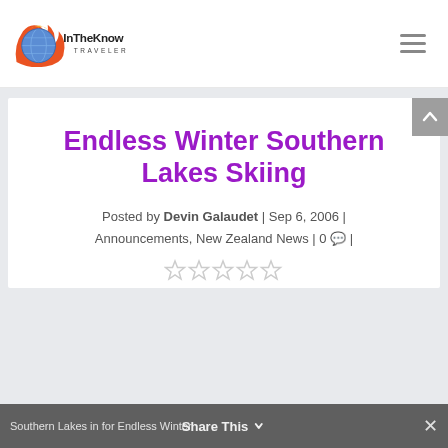InTheKnow Traveler
Endless Winter Southern Lakes Skiing
Posted by Devin Galaudet | Sep 6, 2006 | Announcements, New Zealand News | 0 |
[Figure (other): Five empty star rating icons]
Southern Lakes in for Endless Winter  Share This  ×